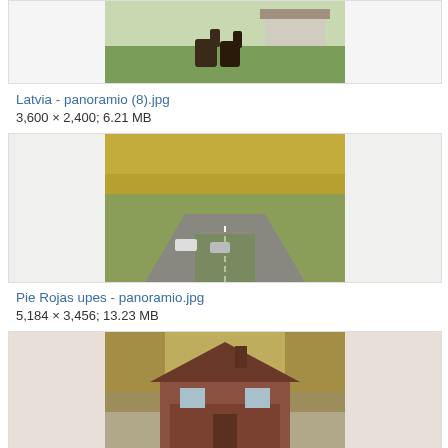[Figure (photo): A countryside field with two dark horses grazing on green grass, with farm buildings in the background.]
Latvia - panoramio (8).jpg
3,600 × 2,400; 6.21 MB
[Figure (photo): An aerial view of a road through an autumn forest with yellow/orange leaves, with cars driving on the road.]
Pie Rojas upes - panoramio.jpg
5,184 × 3,456; 13.23 MB
[Figure (photo): A small red brick house with a porch, surrounded by autumn trees with yellow leaves.]